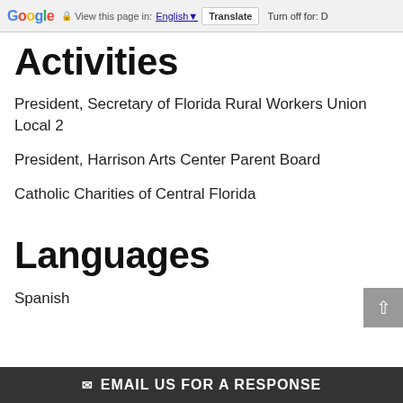Google | View this page in: English | Translate | Turn off for: D
Activities
President, Secretary of Florida Rural Workers Union Local 2
President, Harrison Arts Center Parent Board
Catholic Charities of Central Florida
Languages
Spanish
EMAIL US FOR A RESPONSE